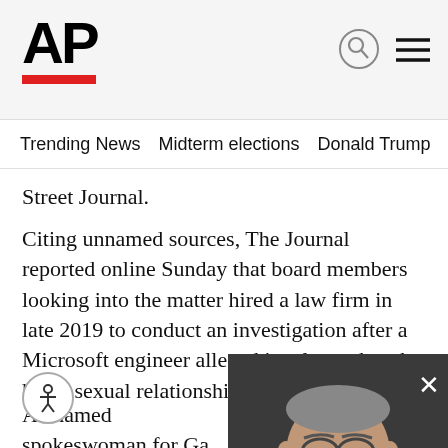AP
Trending News   Midterm elections   Donald Trump   Russia-Ukr
Street Journal.
Citing unnamed sources, The Journal reported online Sunday that board members looking into the matter hired a law firm in late 2019 to conduct an investigation after a Microsoft engineer alleged in a letter that she had a sexual relationship with Gates ov
The Journal reported that Gates re board's investigation was finished, familiar with the matter.
[Figure (screenshot): Video overlay showing a man with glasses and suit, with video playback controls including a pause button, mute icon, close button, and progress bar at top.]
A named spokeswoman for Ga The Journal that there was an affai